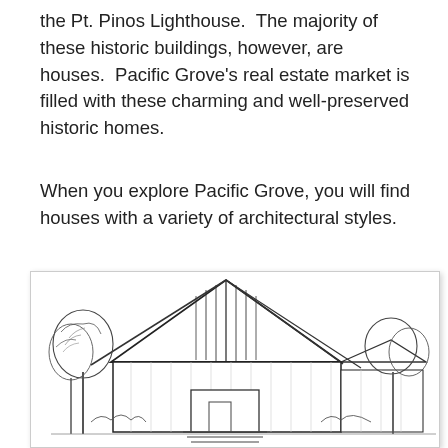the Pt. Pinos Lighthouse.  The majority of these historic buildings, however, are houses.  Pacific Grove's real estate market is filled with these charming and well-preserved historic homes.
When you explore Pacific Grove, you will find houses with a variety of architectural styles.
* The descriptions below are taken from chapter 7 of the city's 1994 general plan, found here.
[Figure (illustration): Black and white line drawing illustration of a historic house with a steep triangular gabled roof, vertical siding on the gable face, trees on either side, and a front entrance area.]